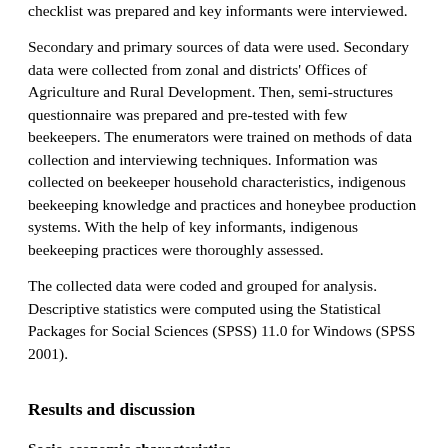checklist was prepared and key informants were interviewed.
Secondary and primary sources of data were used. Secondary data were collected from zonal and districts' Offices of Agriculture and Rural Development. Then, semi-structures questionnaire was prepared and pre-tested with few beekeepers. The enumerators were trained on methods of data collection and interviewing techniques. Information was collected on beekeeper household characteristics, indigenous beekeeping knowledge and practices and honeybee production systems. With the help of key informants, indigenous beekeeping practices were thoroughly assessed.
The collected data were coded and grouped for analysis. Descriptive statistics were computed using the Statistical Packages for Social Sciences (SPSS) 11.0 for Windows (SPSS 2001).
Results and discussion
Socio-economic characteristics
Age, religion, level of education, family size, land holding and beekeeping experiences of the respondents were indicated in